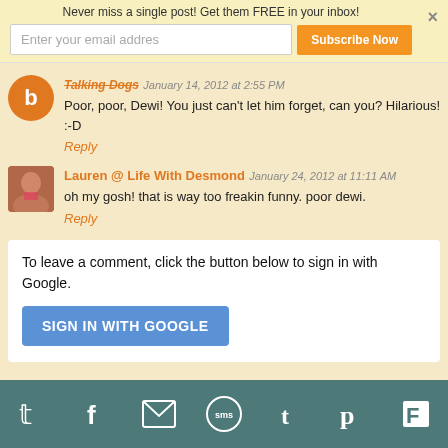Never miss a single post! Get them FREE in your inbox!
Enter your email addres
Subscribe Now
Talking Dogs January 14, 2012 at 2:55 PM
Poor, poor, Dewi! You just can't let him forget, can you? Hilarious! :-D
Reply
Lauren @ Life With Desmond January 24, 2012 at 11:11 AM
oh my gosh! that is way too freakin funny. poor dewi.
Reply
To leave a comment, click the button below to sign in with Google.
SIGN IN WITH GOOGLE
Twitter Facebook Email SMS Tumblr Pinterest Flipboard